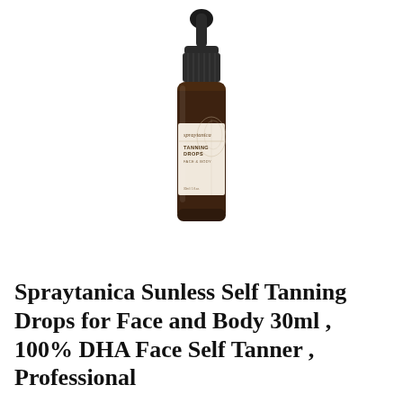[Figure (photo): A small amber glass dropper bottle of Spraytanica Tanning Drops for Face & Body, with a black rubber dropper top. The bottle has a cream/beige label reading 'spraytanica TANNING DROPS FACE & BODY' with decorative botanical graphics.]
Spraytanica Sunless Self Tanning Drops for Face and Body 30ml , 100% DHA Face Self Tanner , Professional